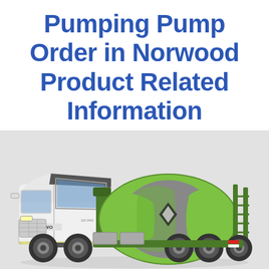Pumping Pump Order in Norwood Product Related Information
[Figure (photo): White HOWO concrete mixer truck with green and grey rotating drum, parked on light grey background.]
Send Message
Inquiry Online